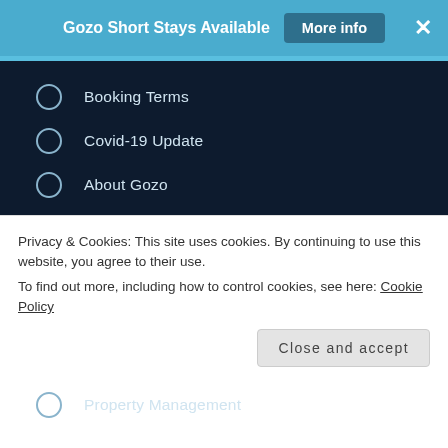Gozo Short Stays Available  More info  ×
Booking Terms
Covid-19 Update
About Gozo
How to get to Gozo
Accommodation
FAQs
About us
Property Management
Privacy & Cookies: This site uses cookies. By continuing to use this website, you agree to their use.
To find out more, including how to control cookies, see here: Cookie Policy
Close and accept